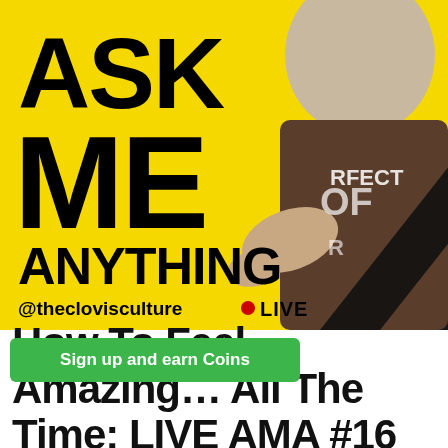[Figure (illustration): Promotional graphic showing 'ASK ME ANYTHING' in large bold black text on a yellow diagonal background, with a man in a brown t-shirt on the right side against a dark background. Text includes '@theclovisculture • LIVE' at the bottom of the yellow section.]
Sign up and earn Coins
How To Feel Amazing… All The Time: LIVE AMA #16